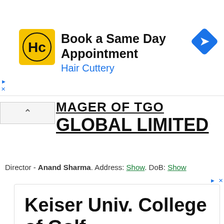[Figure (screenshot): Hair Cuttery ad banner: HC logo (yellow square with HC letters), text 'Book a Same Day Appointment' and 'Hair Cuttery' in blue, blue navigation diamond icon on right]
MAGER OF TGO GLOBAL LIMITED
Director - Anand Sharma. Address: Show. DoB: Show
[Figure (screenshot): Keiser Univ. College of Golf advertisement: large heading 'Keiser Univ. College of Golf', bold text 'Pursue Your Golf Passion', body text 'Find out if a Career in Golf is right for you. Check Out Our Career Guide to Learn More!']